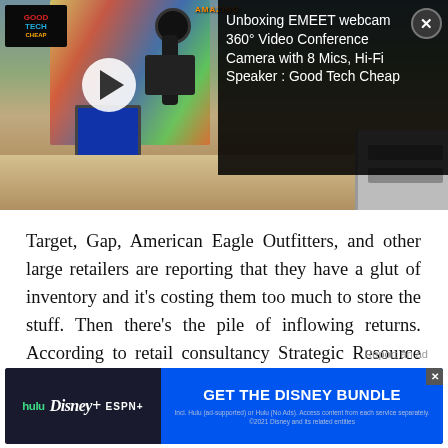[Figure (screenshot): Video thumbnail showing a webcam/robot device on a desk with comic book posters in background. Overlay shows video title: 'Unboxing EMEET webcam 360° Video Conference Camera with 8 Mics, Hi-Fi Speaker : Good Tech Cheap'. Play button visible. Close (X) button in top right.]
Target, Gap, American Eagle Outfitters, and other large retailers are reporting that they have a glut of inventory and it's costing them too much to store the stuff. Then there's the pile of inflowing returns. According to retail consultancy Strategic Resource Group, many big name stores—which the firm doesn't name—are considering whether to tell customers
Report an ad
[Figure (screenshot): Advertisement banner for Disney Bundle featuring Hulu, Disney+, and ESPN+ logos with 'GET THE DISNEY BUNDLE' call to action. Fine print: 'Incl. Hulu (ad-supported) or Hulu (No Ads). Access content from each service separately. ©2021 Disney and its related entities']